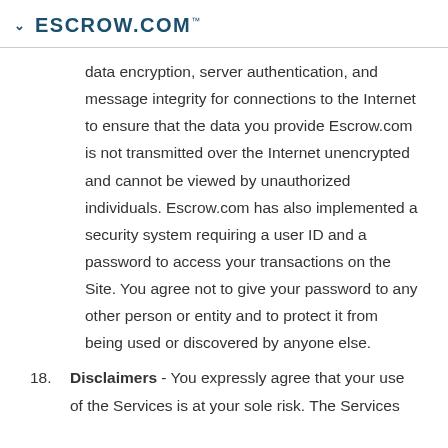ESCROW.COM™
data encryption, server authentication, and message integrity for connections to the Internet to ensure that the data you provide Escrow.com is not transmitted over the Internet unencrypted and cannot be viewed by unauthorized individuals. Escrow.com has also implemented a security system requiring a user ID and a password to access your transactions on the Site. You agree not to give your password to any other person or entity and to protect it from being used or discovered by anyone else.
18. Disclaimers - You expressly agree that your use of the Services is at your sole risk. The Services